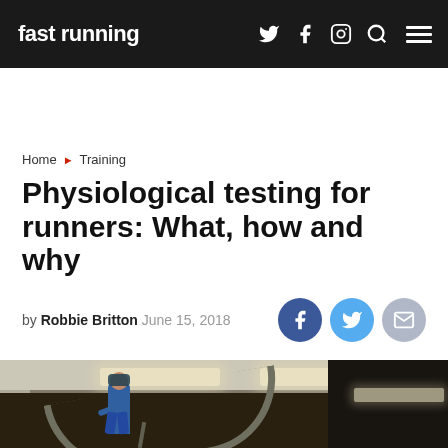fast running
Home › Training
Physiological testing for runners: What, how and why
by Robbie Britton June 15, 2018
[Figure (photo): Runner on a treadmill in a sports science laboratory wearing a breathing mask and blue singlet, with overhead lighting and laboratory equipment visible]